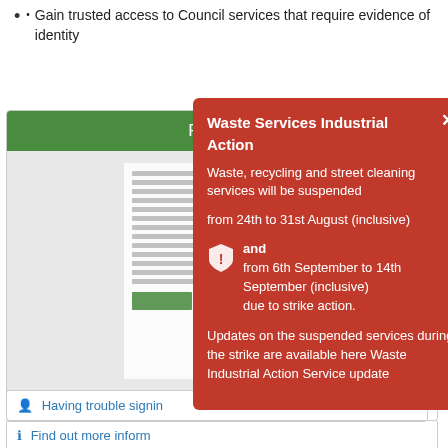Gain trusted access to Council services that require evidence of identity
[Figure (screenshot): Partially visible green-header register box with blurred body content]
[Figure (infographic): Red popup overlay titled 'Waste Services Industrial Action' with close button and warning shield icon. Text: Waste, recycling and street cleaning services will be suspended from 24th to 31st August (inclusive) and from 6th September to 14th September (inclusive) due to strike action. Updates on the suspended services during the strike are available here Waste Industrial Action Service update]
Having trouble signin
Find out more inform